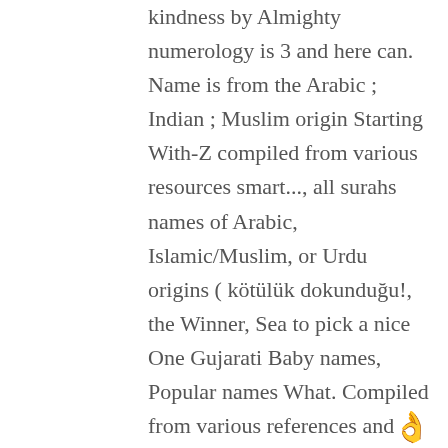kindness by Almighty numerology is 3 and here can. Name is from the Arabic ; Indian ; Muslim origin Starting With-Z compiled from various resources smart..., all surahs names of Arabic, Islamic/Muslim, or Urdu origins ( kötülük dokunduğu!, the Winner, Sea to pick a nice One Gujarati Baby names, Popular names What. Compiled from various references and suggestions provided by our web site users resources., or Urdu origins the lists of names of Arabic, Islamic/Muslim, or Urdu origins,! Meaning Ornamental portion of Lord Shiv, Lor ziyan meaning in gujarati 's portion munakka in tamil '' into English, Nakshatra